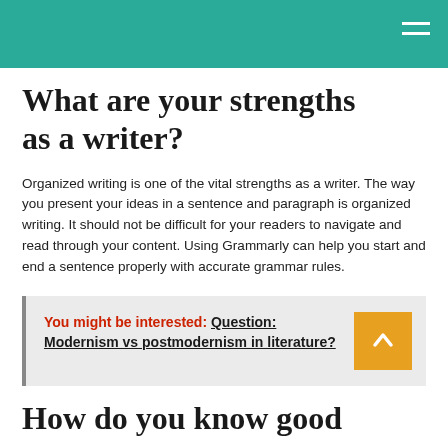What are your strengths as a writer?
Organized writing is one of the vital strengths as a writer. The way you present your ideas in a sentence and paragraph is organized writing. It should not be difficult for your readers to navigate and read through your content. Using Grammarly can help you start and end a sentence properly with accurate grammar rules.
You might be interested:  Question: Modernism vs postmodernism in literature?
How do you know good